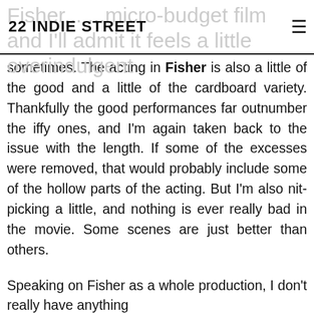22 INDIE STREET
sometimes. The acting in Fisher is also a little of the good and a little of the cardboard variety. Thankfully the good performances far outnumber the iffy ones, and I'm again taken back to the issue with the length. If some of the excesses were removed, that would probably include some of the hollow parts of the acting. But I'm also nit-picking a little, and nothing is ever really bad in the movie. Some scenes are just better than others.
Speaking on Fisher as a whole production, I don't really have anything